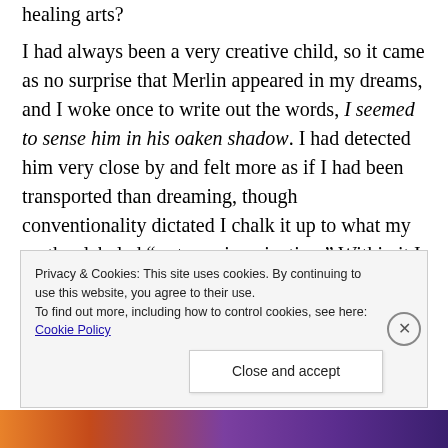healing arts?
I had always been a very creative child, so it came as no surprise that Merlin appeared in my dreams, and I woke once to write out the words, I seemed to sense him in his oaken shadow. I had detected him very close by and felt more as if I had been transported than dreaming, though conventionality dictated I chalk it up to what my mother labeled “a strong imagination.” Within it I explored what Muir calls the “gate of memory,” wanting to know what could be discovered in the shadows of our past
Privacy & Cookies: This site uses cookies. By continuing to use this website, you agree to their use. To find out more, including how to control cookies, see here: Cookie Policy
Close and accept